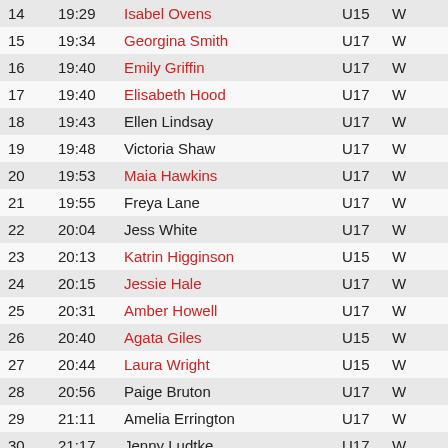| # | Time | Name | Cat | G | Score |
| --- | --- | --- | --- | --- | --- |
| 14 | 19:29 | Isabel Ovens | U15 | W | -1 |
| 15 | 19:34 | Georgina Smith | U17 | W | 2 |
| 16 | 19:40 | Emily Griffin | U17 | W | 1 |
| 17 | 19:40 | Elisabeth Hood | U17 | W | 2 |
| 18 | 19:43 | Ellen Lindsay | U17 | W |  |
| 19 | 19:48 | Victoria Shaw | U17 | W |  |
| 20 | 19:53 | Maia Hawkins | U17 | W | 1 |
| 21 | 19:55 | Freya Lane | U17 | W |  |
| 22 | 20:04 | Jess White | U17 | W |  |
| 23 | 20:13 | Katrin Higginson | U15 | W | -1 |
| 24 | 20:15 | Jessie Hale | U17 | W | 1 |
| 25 | 20:31 | Amber Howell | U17 | W | 2 |
| 26 | 20:40 | Agata Giles | U15 | W | -1 |
| 27 | 20:44 | Laura Wright | U15 | W | -1 |
| 28 | 20:56 | Paige Bruton | U17 | W |  |
| 29 | 21:11 | Amelia Errington | U17 | W |  |
| 30 | 21:17 | Jenny Ludtke | U17 | W |  |
| 31 | 21:26 | Georgia Cole | U17 | W | 1 |
| 32 | 21:26 | Tara Sladen | U17 | W | 1 |
| 33 | 21:49 | Rhian Jones | U17 | W |  |
| 34 | 21:58 | Amy Thomas | U15 | W | -1 |
| 35 | 22:03 | Anwen Roberts | U17 | W |  |
| 36 | 22:08 | Bethan Connolly | U17 | W |  |